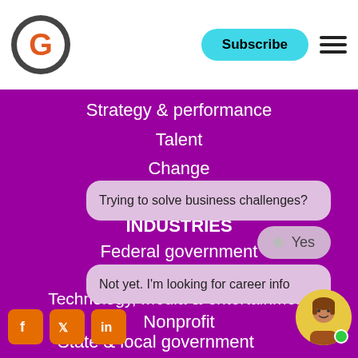[Figure (logo): Circular logo with dark grey border and orange letter G]
Subscribe
Strategy & performance
Talent
Change
CASE STUDIES
INDUSTRIES
Federal government
Financial services
Health & life sciences
Nonprofit
State & local government
Technology, media & entertainment
[Figure (screenshot): Chat overlay with bubbles: 'Trying to solve business challenges?', 'Yes', 'Not yet. I'm looking for career info']
[Figure (illustration): Avatar of a person in yellow circle with green dot]
[Figure (logo): Social media icons: Facebook, Twitter, LinkedIn in orange squares]